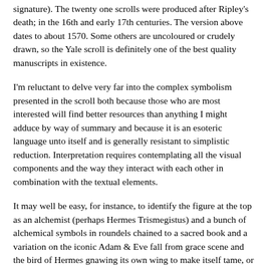signature). The twenty one scrolls were produced after Ripley's death; in the 16th and early 17th centuries. The version above dates to about 1570. Some others are uncoloured or crudely drawn, so the Yale scroll is definitely one of the best quality manuscripts in existence.
I'm reluctant to delve very far into the complex symbolism presented in the scroll both because those who are most interested will find better resources than anything I might adduce by way of summary and because it is an esoteric language unto itself and is generally resistant to simplistic reduction. Interpretation requires contemplating all the visual components and the way they interact with each other in combination with the textual elements.
It may well be easy, for instance, to identify the figure at the top as an alchemist (perhaps Hermes Trismegistus) and a bunch of alchemical symbols in roundels chained to a sacred book and a variation on the iconic Adam & Eve fall from grace scene and the bird of Hermes gnawing its own wing to make itself tame, or any number of other visual emblems that have possible referential meaning outside of the scroll, but it's the role they play in the cryptic totality of the work in